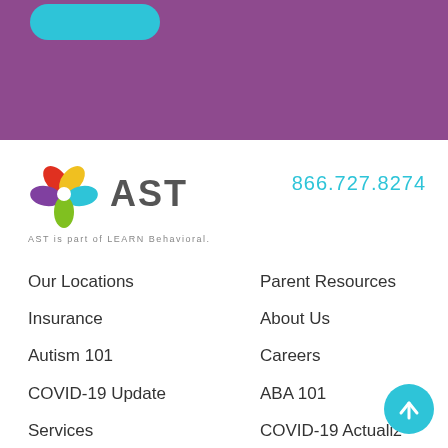[Figure (other): Purple banner header with teal button at top]
[Figure (logo): AST logo with colorful flower/leaf icon and AST text]
866.727.8274
AST is part of LEARN Behavioral.
Our Locations
Parent Resources
Insurance
About Us
Autism 101
Careers
COVID-19 Update
ABA 101
Services
COVID-19 Actualiz
Contact
Español